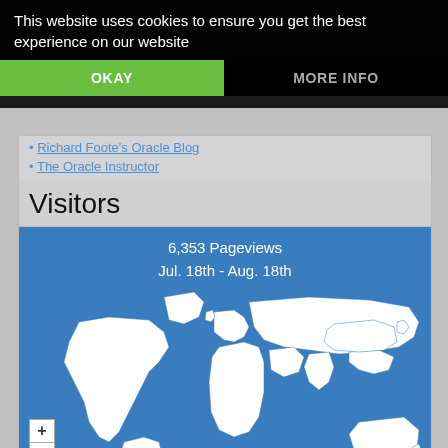This website uses cookies to ensure you get the best experience on our website
OKAY
MORE INFO
Richard Foote's Oracle Blog
The Oracle Instructor
Visitors
[Figure (map): World map showing visitor pageviews: 6,353 Pageviews Jul. 18th - Aug. 18th. Blue background with white country outlines showing a world map with zoom controls (+/-) in the bottom left.]